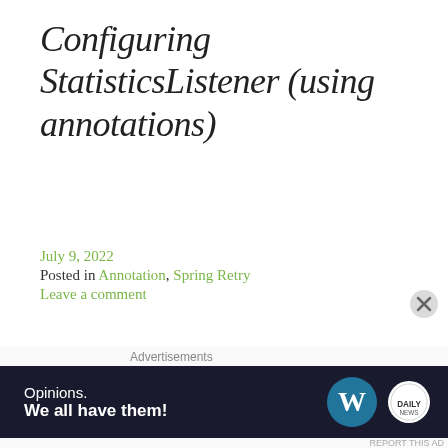Configuring StatisticsListener (using annotations)
July 9, 2022
Posted in Annotation, Spring Retry
Leave a comment
In this post under Spring Retry, I will show with example how to configure StatisticsListener using annotations. As explained in previous posts, StatisticsListener class provided by Spring Retry
[Figure (infographic): WordPress advertisement banner: 'Opinions. We all have them!' with WordPress logo and another circular logo on dark navy background]